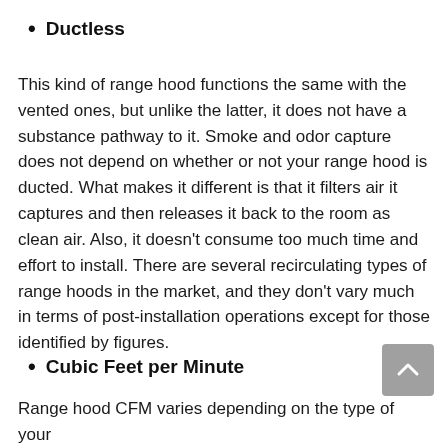Ductless
This kind of range hood functions the same with the vented ones, but unlike the latter, it does not have a substance pathway to it. Smoke and odor capture does not depend on whether or not your range hood is ducted. What makes it different is that it filters air it captures and then releases it back to the room as clean air. Also, it doesn't consume too much time and effort to install. There are several recirculating types of range hoods in the market, and they don't vary much in terms of post-installation operations except for those identified by figures.
Cubic Feet per Minute
Range hood CFM varies depending on the type of your